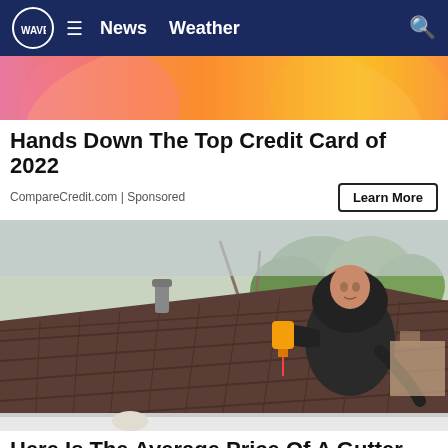WAVE | News  Weather
[Figure (photo): Partial view of a pink/orange colorful image, likely a donut or food item, cropped at top]
Hands Down The Top Credit Card of 2022
CompareCredit.com | Sponsored
Learn More
[Figure (photo): A man in a black hoodie working on a rooftop, holding a yellow tool, with brown shingles, a vent pipe, and bare trees in the background]
Here Is The Average Price Of A Gutter...